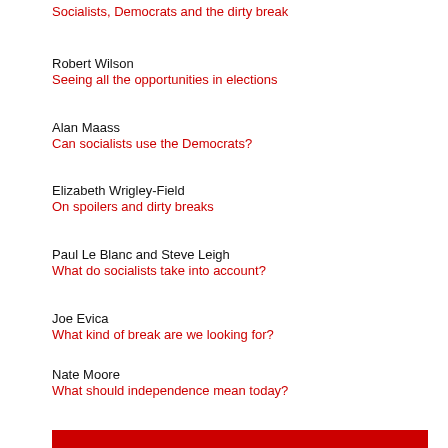Socialists, Democrats and the dirty break
Robert Wilson
Seeing all the opportunities in elections
Alan Maass
Can socialists use the Democrats?
Elizabeth Wrigley-Field
On spoilers and dirty breaks
Paul Le Blanc and Steve Leigh
What do socialists take into account?
Joe Evica
What kind of break are we looking for?
Nate Moore
What should independence mean today?
Eric Blanc
On history and the dirty break
Nate Moore
Precedents for flexibility?